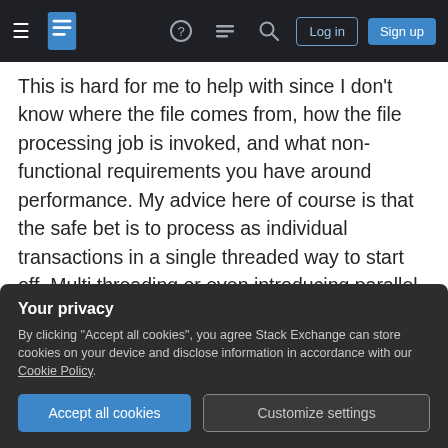Stack Exchange navigation bar with hamburger menu, logo, help, chat, search icons, Log in and Sign up buttons
This is hard for me to help with since I don't know where the file comes from, how the file processing job is invoked, and what non-functional requirements you have around performance. My advice here of course is that the safe bet is to process as individual transactions in a single threaded way to start off. Multi threading or even introducing parallel processing and distributed computing here could be potentially very complicated if you are trying to roll your own. Frameworks like Spring Batch help you manage this
Your privacy
By clicking "Accept all cookies", you agree Stack Exchange can store cookies on your device and disclose information in accordance with our Cookie Policy.
Accept all cookies    Customize settings